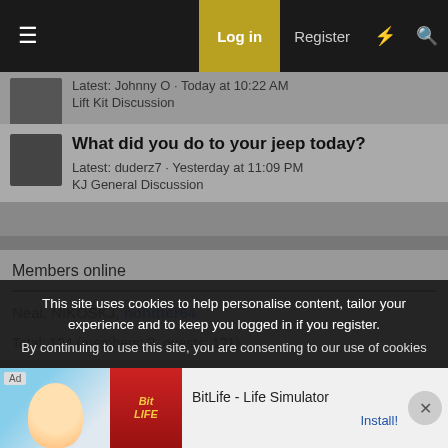Log in | Register
[Figure (screenshot): Partial forum post avatar thumbnail]
Latest: Johnny O · Today at 10:22 AM
Lift Kit Discussion
What did you do to your jeep today?
Latest: duderz7 · Yesterday at 11:09 PM
KJ General Discussion
Members online
Neal, NIKOSKJ, nohitter64
Total: 124 (members: 3, guests: 121)
KJ General Discussion
This site uses cookies to help personalise content, tailor your experience and to keep you logged in if you register.
By continuing to use this site, you are consenting to our use of cookies
[Figure (screenshot): BitLife - Life Simulator advertisement banner with cartoon character and BitLife logo]